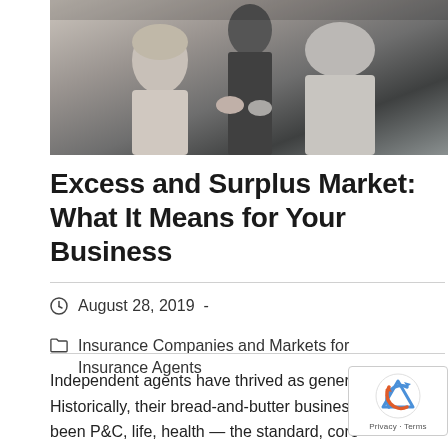[Figure (photo): Black and white photo of people shaking hands or in a business meeting, viewed from behind/side]
Excess and Surplus Market: What It Means for Your Business
August 28, 2019 -
Insurance Companies and Markets for Insurance Agents
Independent agents have thrived as generalists. Historically, their bread-and-butter business has been P&C, life, health — the standard, core coverage with economical pricing and a straightforward process. But